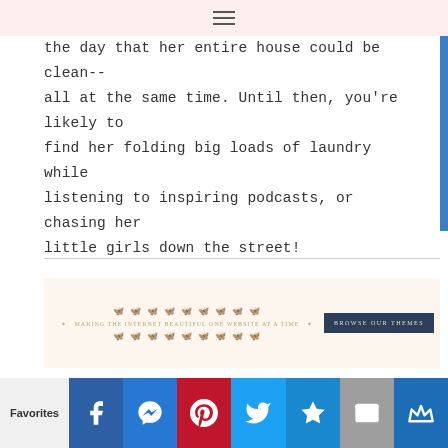≡ (navigation menu)
the day that her entire house could be clean-- all at the same time. Until then, you're likely to find her folding big loads of laundry while listening to inspiring podcasts, or chasing her little girls down the street!
[Figure (infographic): Decorative banner with butterfly motifs and text 'MAKING THE INTERNET BEAUTIFUL ONE WEBSITE AT A TIME' with a dark blue 'BROWSE OUR THEMES' button on the right.]
Favorites [social share icons: Facebook, Messenger, Pinterest, Twitter, Star/Bookmark, Email, Crown]